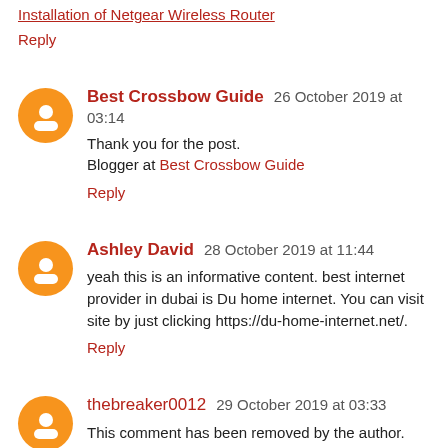Installation of Netgear Wireless Router
Reply
Best Crossbow Guide 26 October 2019 at 03:14
Thank you for the post.
Blogger at Best Crossbow Guide
Reply
Ashley David 28 October 2019 at 11:44
yeah this is an informative content. best internet provider in dubai is Du home internet. You can visit site by just clicking https://du-home-internet.net/.
Reply
thebreaker0012 29 October 2019 at 03:33
This comment has been removed by the author.
Reply